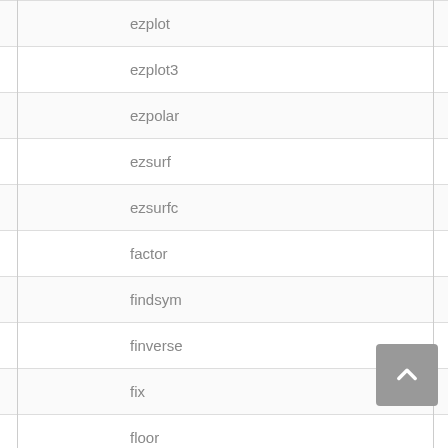| ezplot |
| ezplot3 |
| ezpolar |
| ezsurf |
| ezsurfc |
| factor |
| findsym |
| finverse |
| fix |
| floor |
| fortran |